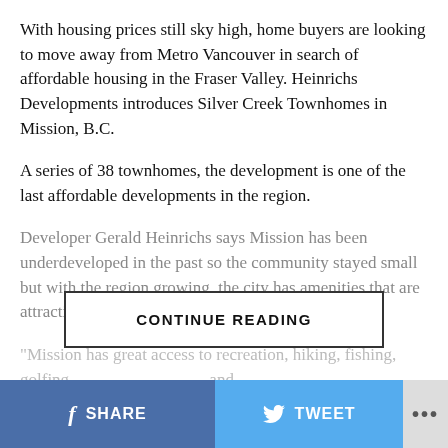With housing prices still sky high, home buyers are looking to move away from Metro Vancouver in search of affordable housing in the Fraser Valley. Heinrichs Developments introduces Silver Creek Townhomes in Mission, B.C.
A series of 38 townhomes, the development is one of the last affordable developments in the region.
Developer Gerald Heinrichs says Mission has been underdeveloped in the past so the community stayed small but with the region growing, the city has amenities that are attractive to first time homebuyers and retirees.
"Mission has great access to recreation, hiking, fishing, golfing...
CONTINUE READING
SHARE   TWEET   ...